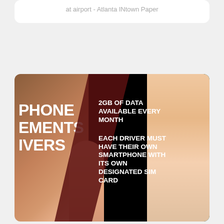at airport - Atlanta INtown Paper
[Figure (photo): A hand holding a smartphone with a dark screen displaying text about phone requirements for drivers. The screen shows '2GB OF DATA AVAILABLE EVERY MONTH' and 'EACH DRIVER MUST HAVE THEIR OWN SMARTPHONE WITH ITS OWN DESIGNATED SIM CARD'. On the left side, large white bold text reads 'PHONE EMENTS IVERS' (partially cropped). Background has warm brown and dark green tones.]